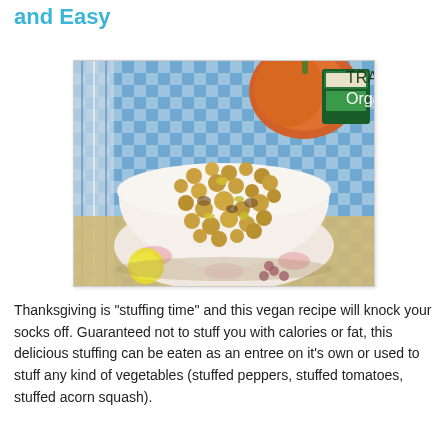and Easy
[Figure (photo): A white bowl with floral pattern filled with cooked chickpeas and vegetables, placed on a blue checkered tablecloth with a pumpkin and a Trader Joe's box in the background.]
Thanksgiving is "stuffing time" and this vegan recipe will knock your socks off. Guaranteed not to stuff you with calories or fat, this delicious stuffing can be eaten as an entree on it's own or used to stuff any kind of vegetables (stuffed peppers, stuffed tomatoes, stuffed acorn squash).